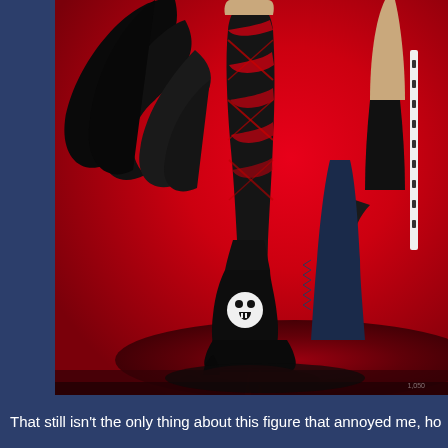[Figure (photo): Close-up photo of an anime figure (Black Rock Shooter style) with black and red patterned thigh-high boots/stockings, dark wings, holding a sword/weapon, against a bright red background. The figure stands on a dark circular base with a skull emblem on the boot.]
That still isn't the only thing about this figure that annoyed me, ho